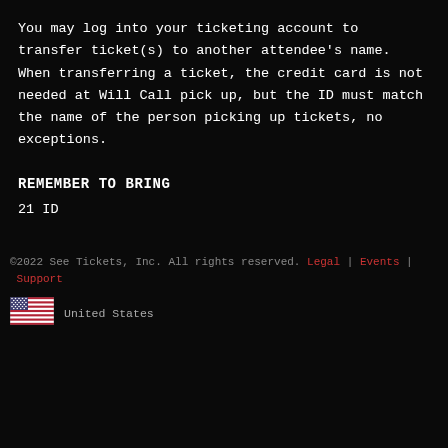You may log into your ticketing account to transfer ticket(s) to another attendee's name. When transferring a ticket, the credit card is not needed at Will Call pick up, but the ID must match the name of the person picking up tickets, no exceptions.
REMEMBER TO BRING
21 ID
©2022 See Tickets, Inc. All rights reserved. Legal | Events | Support
United States